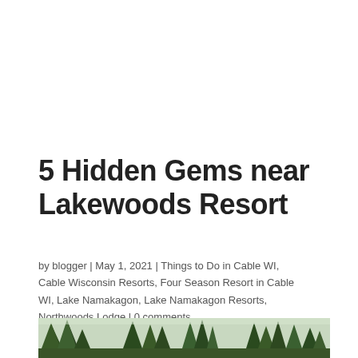5 Hidden Gems near Lakewoods Resort
by blogger | May 1, 2021 | Things to Do in Cable WI, Cable Wisconsin Resorts, Four Season Resort in Cable WI, Lake Namakagon, Lake Namakagon Resorts, Northwoods Lodge | 0 comments
[Figure (photo): Outdoor forest/woodland photo showing trees, sky and foliage in a northwoods setting near Lakewoods Resort]